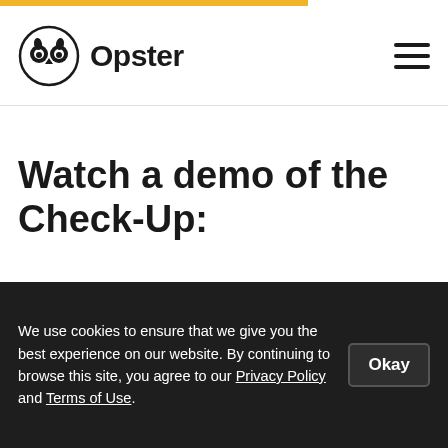Opster
Watch a demo of the Check-Up:
[Figure (screenshot): Screenshot of the Opster Check-Up dashboard showing metrics: 9%, 94%, 64% with green, blue, and orange cards, a summary section, and next steps panel with an X close button]
We use cookies to ensure that we give you the best experience on our website. By continuing to browse this site, you agree to our Privacy Policy and Terms of Use.